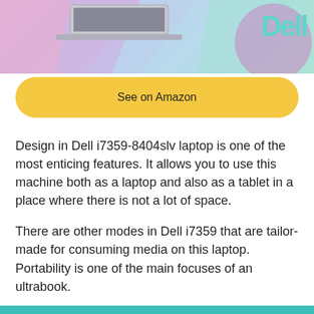[Figure (photo): Dell laptop product banner image with pink, purple, teal pastel geometric background and Dell logo in teal on the right side]
See on Amazon
Design in Dell i7359-8404slv laptop is one of the most enticing features. It allows you to use this machine both as a laptop and also as a tablet in a place where there is not a lot of space.
There are other modes in Dell i7359 that are tailor-made for consuming media on this laptop. Portability is one of the main focuses of an ultrabook.